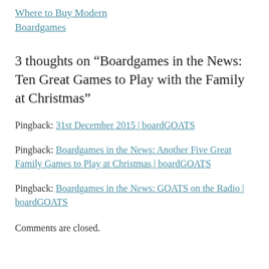Where to Buy Modern Boardgames
3 thoughts on “Boardgames in the News: Ten Great Games to Play with the Family at Christmas”
Pingback: 31st December 2015 | boardGOATS
Pingback: Boardgames in the News: Another Five Great Family Games to Play at Christmas | boardGOATS
Pingback: Boardgames in the News: GOATS on the Radio | boardGOATS
Comments are closed.